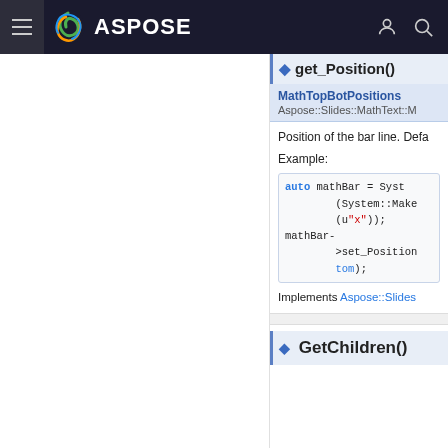ASPOSE
◆ get_Position()
MathTopBotPositions
Aspose::Slides::MathText::M
Position of the bar line. Defa
Example:
auto mathBar = Syst
        (System::Make
        (u"x"));
mathBar-
        >set_Position
        tom);
Implements Aspose::Slides
◆ GetChildren()